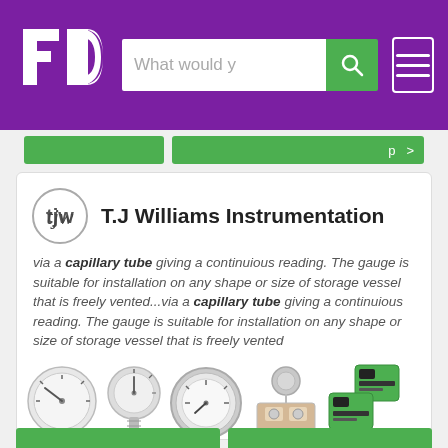FD — What would y [search] [menu]
[Figure (logo): FD logo white letters on purple background with search bar and hamburger menu]
[Figure (logo): T.J Williams Instrumentation company logo — circular TJW emblem]
T.J Williams Instrumentation
via a capillary tube giving a continuious reading. The gauge is suitable for installation on any shape or size of storage vessel that is freely vented...via a capillary tube giving a continuious reading. The gauge is suitable for installation on any shape or size of storage vessel that is freely vented
[Figure (photo): Row of instrumentation product images: pressure gauges, measurement devices, and transmitters]